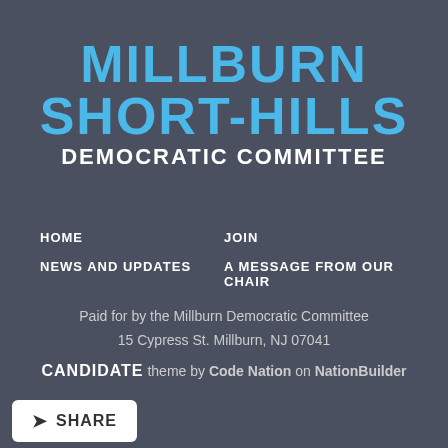MILLBURN SHORT-HILLS DEMOCRATIC COMMITTEE
HOME
JOIN
NEWS AND UPDATES
A MESSAGE FROM OUR CHAIR
Paid for by the Millburn Democratic Committee
15 Cypress St. Millburn, NJ 07041
CANDIDATE theme by Code Nation on NationBuilder
SHARE